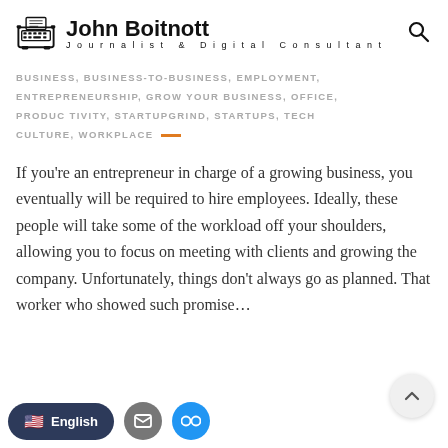John Boitnott — Journalist & Digital Consultant
BUSINESS, BUSINESS-TO-BUSINESS, EMPLOYMENT, ENTREPRENEURSHIP, GROW YOUR BUSINESS, OFFICE, PRODUCTIVITY, STARTUPGRIND, STARTUPS, TECH CULTURE, WORKPLACE
If you’re an entrepreneur in charge of a growing business, you eventually will be required to hire employees. Ideally, these people will take some of the workload off your shoulders, allowing you to focus on meeting with clients and growing the company. Unfortunately, things don’t always go as planned. That worker who showed such promise…